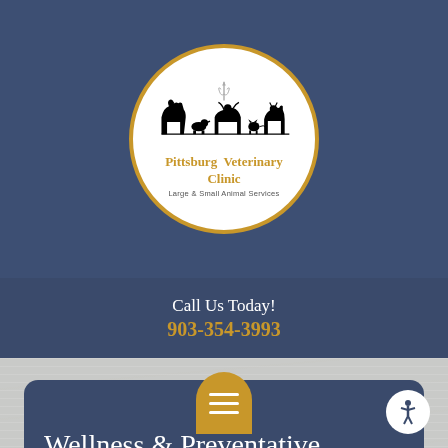[Figure (logo): Circular logo with gold border showing animal silhouettes (horse, dog, bull, cat, goat) and a caduceus symbol above them. Text reads 'Pittsburg Veterinary Clinic' in gold and 'Large & Small Animal Services' below.]
Call Us Today!
903-354-3993
Wellness & Preventative